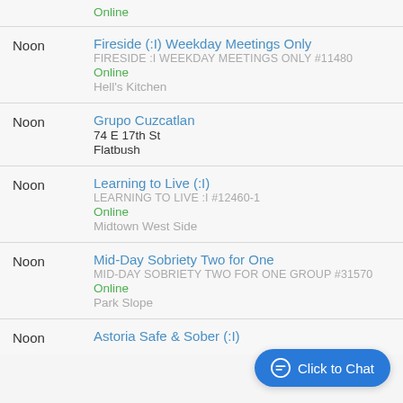Online
Noon | Fireside (:I) Weekday Meetings Only | FIRESIDE :I WEEKDAY MEETINGS ONLY #11480 | Online | Hell's Kitchen
Noon | Grupo Cuzcatlan | 74 E 17th St | Flatbush
Noon | Learning to Live (:I) | LEARNING TO LIVE :I #12460-1 | Online | Midtown West Side
Noon | Mid-Day Sobriety Two for One | MID-DAY SOBRIETY TWO FOR ONE GROUP #31570 | Online | Park Slope
Noon | Astoria Safe & Sober (:I)